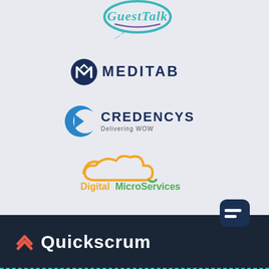[Figure (logo): GuestTalk logo — teal/purple speech bubble with stylized text 'GuestTalk']
[Figure (logo): Meditab logo — dark navy triangle/compass mark with text 'MEDITAB' in dark navy caps]
[Figure (logo): Credencys logo — blue crescent/C mark with text 'CREDENCYS Delivering WOW']
[Figure (logo): DigitalMicroServices logo — orange cloud icon with green/orange text 'DigitalMicroServices']
[Figure (logo): Quickscrum footer logo — dark background bar with orange chevron icon and white text 'Quickscrum', chat bubble icon top right]